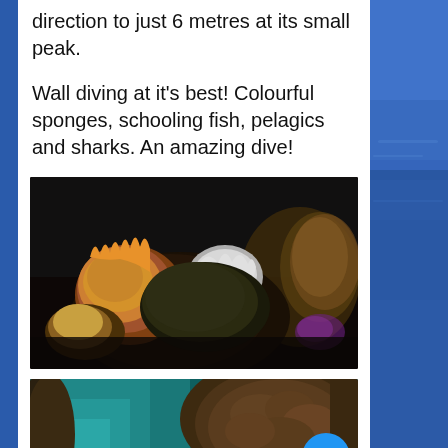direction to just 6 metres at its small peak.
Wall diving at it's best! Colourful sponges, schooling fish, pelagics and sharks. An amazing dive!
[Figure (photo): Underwater photograph of colorful coral reef with orange, yellow and white coral formations against a dark background]
[Figure (photo): Underwater photograph showing a steep coral wall with turquoise water and large brown sponge formation]